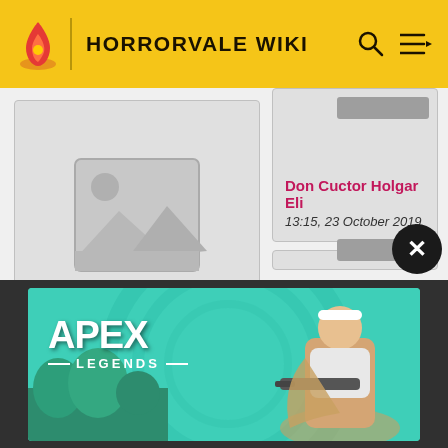HORRORVALE WIKI
[Figure (illustration): Image placeholder icon (landscape/photo placeholder with mountains and sun)]
Don Cuctor Holgar Eli
19:05, 21 October 2019
Don Cuctor Holgar Eli
13:15, 23 October 2019
[Figure (advertisement): Apex Legends advertisement banner showing a character with a sniper rifle on a teal background with the Apex Legends logo]